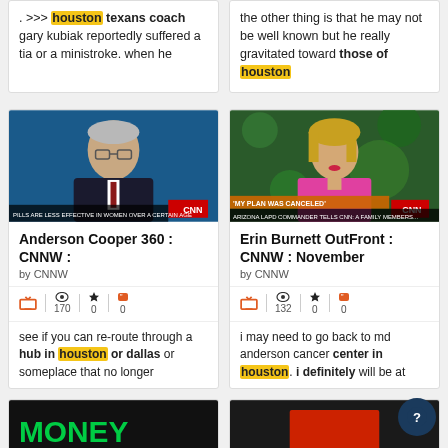. >>> houston texans coach gary kubiak reportedly suffered a tia or a ministroke. when he
the other thing is that he may not be well known but he really gravitated toward those of houston
[Figure (screenshot): Anderson Cooper 360 CNNW news screenshot showing male anchor in glasses]
Anderson Cooper 360 : CNNW :
by CNNW
170 views, 0 favorites, 0 quotes
see if you can re-route through a hub in houston or dallas or someplace that no longer
[Figure (screenshot): Erin Burnett OutFront CNNW screenshot showing female anchor in pink jacket, MY PLAN WAS CANCELED chyron]
Erin Burnett OutFront : CNNW : November
by CNNW
132 views, 0 favorites, 0 quotes
i may need to go back to md anderson cancer center in houston. i definitely will be at
[Figure (screenshot): MONEY show bottom card partial]
[Figure (screenshot): Dark background news show bottom card partial]